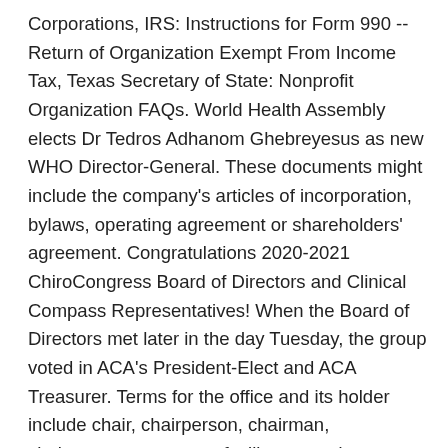Corporations, IRS: Instructions for Form 990 -- Return of Organization Exempt From Income Tax, Texas Secretary of State: Nonprofit Organization FAQs. World Health Assembly elects Dr Tedros Adhanom Ghebreyesus as new WHO Director-General. These documents might include the company's articles of incorporation, bylaws, operating agreement or shareholders' agreement. Congratulations 2020-2021 ChiroCongress Board of Directors and Clinical Compass Representatives! When the Board of Directors met later in the day Tuesday, the group voted in ACA's President-Elect and ACA Treasurer. Terms for the office and its holder include chair, chairperson, chairman, chairwoman, convenor, facilitator, moderator, president, and presiding officer. Mr. Beckwitt, who is a member of the Lennar Board of Directors, had been Lennar's Chief Executive Officer since 2018, and has worked with Lennar in various positions for 14 years. Mroz's work has also been published in the "Pennsylvania Family Law Quarterly.". Facebook Twitter LinkedIn Pinterest. The Board of Directors assists in setting NPR's mission and